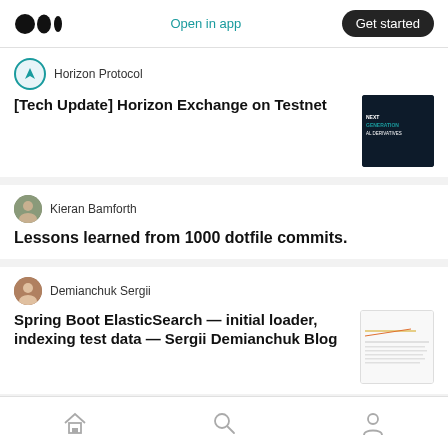Medium app header with logo, Open in app link, and Get started button
[Tech Update] Horizon Exchange on Testnet
Horizon Protocol
Lessons learned from 1000 dotfile commits.
Kieran Bamforth
Spring Boot ElasticSearch — initial loader, indexing test data — Sergii Demianchuk Blog
Demianchuk Sergii
Zishen Li
Bottom navigation: Home, Search, Profile